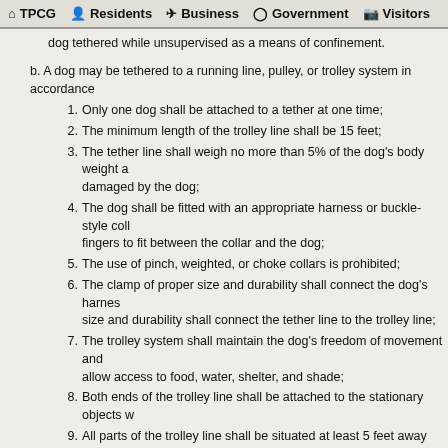TPCG  Residents  Business  Government  Visitors
dog tethered while unsupervised as a means of confinement.
b. A dog may be tethered to a running line, pulley, or trolley system in accordance
1. Only one dog shall be attached to a tether at one time;
2. The minimum length of the trolley line shall be 15 feet;
3. The tether line shall weigh no more than 5% of the dog's body weight a damaged by the dog;
4. The dog shall be fitted with an appropriate harness or buckle-style coll fingers to fit between the collar and the dog;
5. The use of pinch, weighted, or choke collars is prohibited;
6. The clamp of proper size and durability shall connect the dog's harnes size and durability shall connect the tether line to the trolley line;
7. The trolley system shall maintain the dog's freedom of movement and allow access to food, water, shelter, and shade;
8. Both ends of the trolley line shall be attached to the stationary objects w
9. All parts of the trolley line shall be situated at least 5 feet away from ar
10. The dog shall be at least four months old;
11. The dog shall be neutered/spayed, unless the dog is tethered within an means of restraint;
12. Under no circumstances shall a female dog in estrus be restrained by by the owner or attendant;